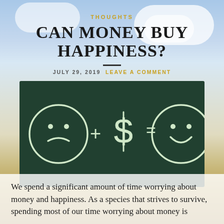THOUGHTS
CAN MONEY BUY HAPPINESS?
JULY 29, 2019   LEAVE A COMMENT
[Figure (illustration): Chalkboard drawing showing a sad face + dollar sign = happy face, illustrating the concept of money and happiness]
We spend a significant amount of time worrying about money and happiness. As a species that strives to survive, spending most of our time worrying about money is